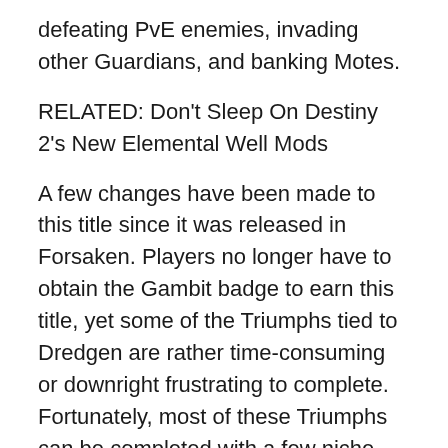defeating PvE enemies, invading other Guardians, and banking Motes.
RELATED: Don't Sleep On Destiny 2's New Elemental Well Mods
A few changes have been made to this title since it was released in Forsaken. Players no longer have to obtain the Gambit badge to earn this title, yet some of the Triumphs tied to Dredgen are rather time-consuming or downright frustrating to complete. Fortunately, most of these Triumphs can be completed with a few niche strategies and builds. Here is a complete guide to earning Destiny 2's Dredgen title.
Note: This guide will not go over gilding the Dredgen title. We have a separate guide that